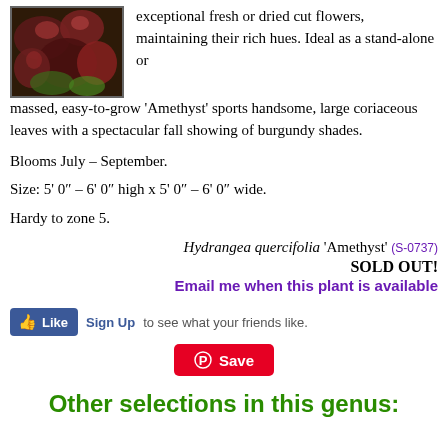[Figure (photo): Photo of Hydrangea quercifolia 'Amethyst' plant with dark burgundy/red large leaves]
exceptional fresh or dried cut flowers, maintaining their rich hues. Ideal as a stand-alone or massed, easy-to-grow ‘Amethyst’ sports handsome, large coriaceous leaves with a spectacular fall showing of burgundy shades.
Blooms July – September.
Size: 5’ 0″ – 6’ 0″ high x 5’ 0″ – 6’ 0″ wide.
Hardy to zone 5.
Hydrangea quercifolia ‘Amethyst’ (S-0737)
SOLD OUT!
Email me when this plant is available
[Figure (screenshot): Facebook Like button with Sign Up link and text 'to see what your friends like.']
[Figure (screenshot): Pinterest Save button]
Other selections in this genus: